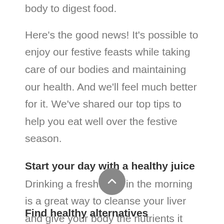body to digest food.
Here’s the good news! It’s possible to enjoy our festive feasts while taking care of our bodies and maintaining our health. And we’ll feel much better for it. We’ve shared our top tips to help you eat well over the festive season.
Start your day with a healthy juice
Drinking a fresh juice in the morning is a great way to cleanse your liver and give your body the nutrients it needs. It’s an easy way to get your fruit and vegetables in and some even believe juicing can help with the absorption of nutrients.
Find healthy alternatives